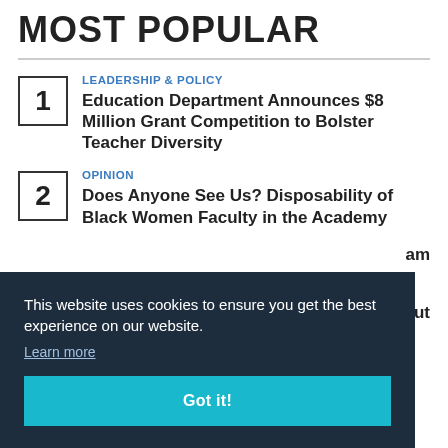MOST POPULAR
LEADERSHIP & POLICY
Education Department Announces $8 Million Grant Competition to Bolster Teacher Diversity
OPINION
Does Anyone See Us? Disposability of Black Women Faculty in the Academy
This website uses cookies to ensure you get the best experience on our website.
Learn more
Got it!